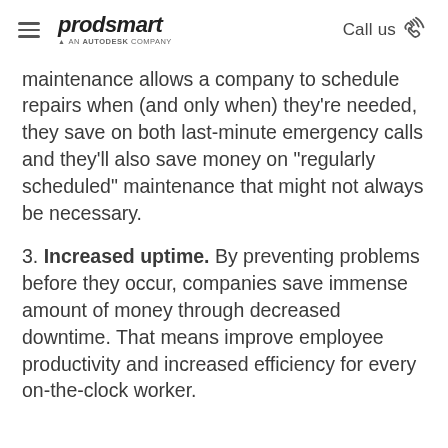prodsmart — An Autodesk company | Call us
maintenance allows a company to schedule repairs when (and only when) they're needed, they save on both last-minute emergency calls and they'll also save money on “regularly scheduled” maintenance that might not always be necessary.
3. Increased uptime. By preventing problems before they occur, companies save immense amount of money through decreased downtime. That means improve employee productivity and increased efficiency for every on-the-clock worker.